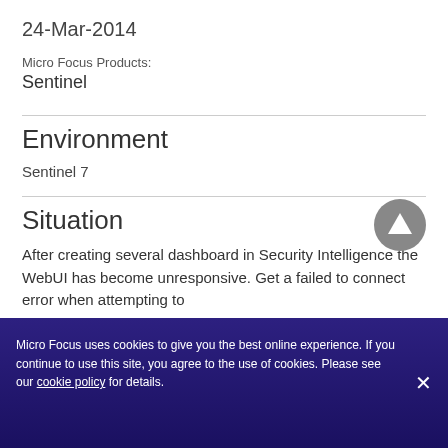24-Mar-2014
Micro Focus Products:
Sentinel
Environment
Sentinel 7
Situation
After creating several dashboard in Security Intelligence the WebUI has become unresponsive. Get a failed to connect error when attempting to
Micro Focus uses cookies to give you the best online experience. If you continue to use this site, you agree to the use of cookies. Please see our cookie policy for details.